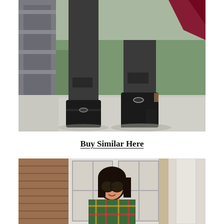[Figure (photo): Close-up photo of a woman's legs wearing dark gray ripped skinny jeans and black suede heeled ankle boots with harness buckle details, walking on a sidewalk with succulents in the background.]
Buy Similar Here
[Figure (photo): Photo of a woman wearing sunglasses and a colorful plaid blanket scarf, smiling, with a brick building and large windows in the background.]